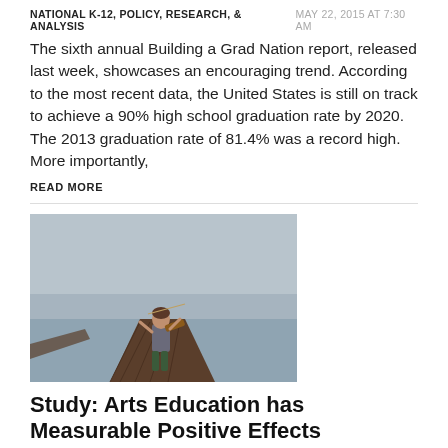NATIONAL K-12, POLICY, RESEARCH, & ANALYSIS   MAY 22, 2015 AT 7:30 AM
The sixth annual Building a Grad Nation report, released last week, showcases an encouraging trend. According to the most recent data, the United States is still on track to achieve a 90% high school graduation rate by 2020. The 2013 graduation rate of 81.4% was a record high. More importantly,
READ MORE
[Figure (photo): A young child playing violin on a wooden dock over water, with an overcast sky in the background.]
Study: Arts Education has Measurable Positive Effects
HEALTH & SCIENCE, NATIONAL K-12, POLICY, RESEARCH, & ANALYSIS